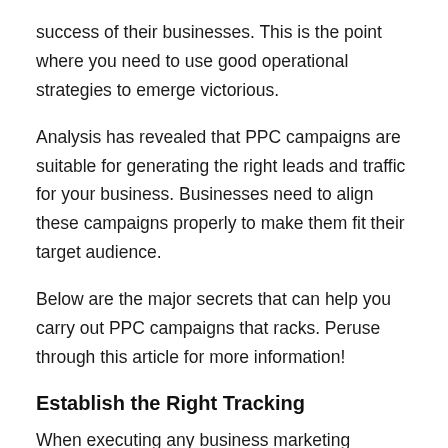success of their businesses. This is the point where you need to use good operational strategies to emerge victorious.
Analysis has revealed that PPC campaigns are suitable for generating the right leads and traffic for your business. Businesses need to align these campaigns properly to make them fit their target audience.
Below are the major secrets that can help you carry out PPC campaigns that racks. Peruse through this article for more information!
Establish the Right Tracking
When executing any business marketing campaign, tracking is a crucial aspect to determine the effectiveness of the campaigns. Note that Pay-Per-